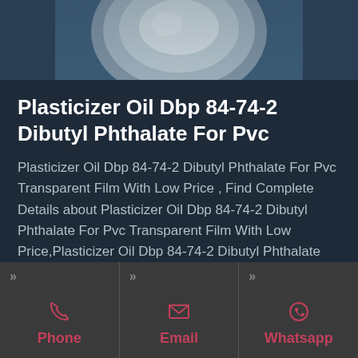[Figure (photo): Product image of Plasticizer Oil Dbp - a circular/cylindrical object on a blue surface, partially cropped at top]
Plasticizer Oil Dbp 84-74-2 Dibutyl Phthalate For Pvc
Plasticizer Oil Dbp 84-74-2 Dibutyl Phthalate For Pvc Transparent Film With Low Price , Find Complete Details about Plasticizer Oil Dbp 84-74-2 Dibutyl Phthalate For Pvc Transparent Film With Low Price,Plasticizer Oil Dbp 84-74-2 Dibutyl Phthalate For Pvc Transparent Film
Phone | Email | Whatsapp